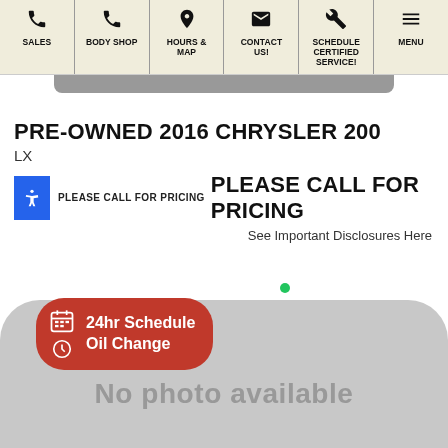[Figure (screenshot): Website navigation bar with icons for SALES, BODY SHOP, HOURS & MAP, CONTACT US!, SCHEDULE CERTIFIED SERVICE!, and MENU]
PRE-OWNED 2016 CHRYSLER 200
LX
PLEASE CALL FOR PRICING  PLEASE CALL FOR PRICING
See Important Disclosures Here
[Figure (screenshot): No photo available placeholder image (gray rounded rectangle) with a 24hr Schedule Oil Change red button overlay and a green dot]